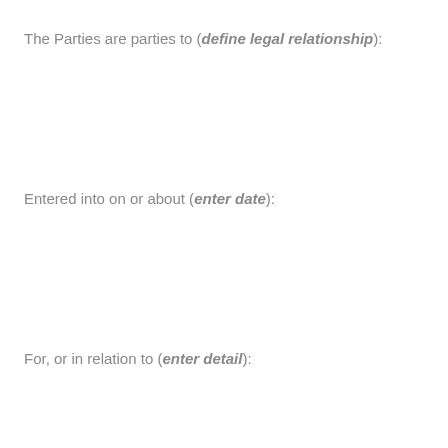The Parties are parties to (define legal relationship):
Entered into on or about (enter date):
For, or in relation to (enter detail):